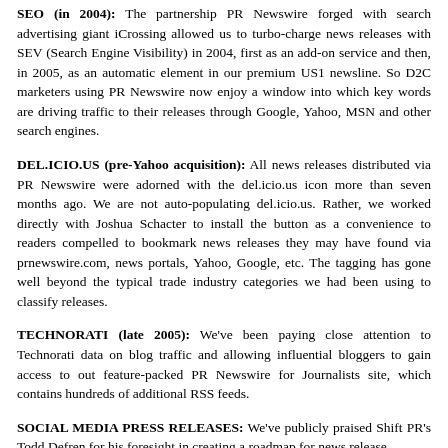SEO (in 2004): The partnership PR Newswire forged with search advertising giant iCrossing allowed us to turbo-charge news releases with SEV (Search Engine Visibility) in 2004, first as an add-on service and then, in 2005, as an automatic element in our premium US1 newsline. So D2C marketers using PR Newswire now enjoy a window into which key words are driving traffic to their releases through Google, Yahoo, MSN and other search engines.
DEL.ICIO.US (pre-Yahoo acquisition): All news releases distributed via PR Newswire were adorned with the del.icio.us icon more than seven months ago. We are not auto-populating del.icio.us. Rather, we worked directly with Joshua Schacter to install the button as a convenience to readers compelled to bookmark news releases they may have found via prnewswire.com, news portals, Yahoo, Google, etc. The tagging has gone well beyond the typical trade industry categories we had been using to classify releases.
TECHNORATI (late 2005): We've been paying close attention to Technorati data on blog traffic and allowing influential bloggers to gain access to out feature-packed PR Newswire for Journalists site, which contains hundreds of additional RSS feeds.
SOCIAL MEDIA PRESS RELEASES: We've publicly praised Shift PR's Todd Defren for his foresight in creating a roadmap for news release